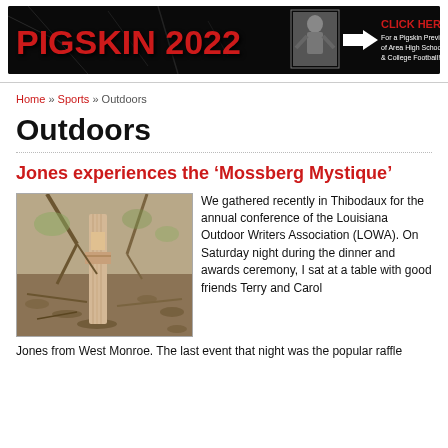[Figure (other): Pigskin 2022 banner advertisement with red stylized text, football player photo, arrow and 'CLICK HERE For a Pigskin Preview of Area High School & College Football!' text on dark background]
Home » Sports » Outdoors
Outdoors
Jones experiences the ‘Mossberg Mystique’
[Figure (photo): Outdoor photo showing a wooden post or tree stump in a forest or wooded area with leaves and branches on the ground]
We gathered recently in Thibodaux for the annual conference of the Louisiana Outdoor Writers Association (LOWA). On Saturday night during the dinner and awards ceremony, I sat at a table with good friends Terry and Carol Jones from West Monroe. The last event that night was the popular raffle